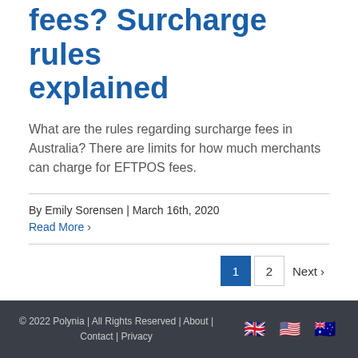fees? Surcharge rules explained
What are the rules regarding surcharge fees in Australia? There are limits for how much merchants can charge for EFTPOS fees.
By Emily Sorensen | March 16th, 2020
Read More ›
© 2022 Polynia | All Rights Reserved | About | Contact | Privacy